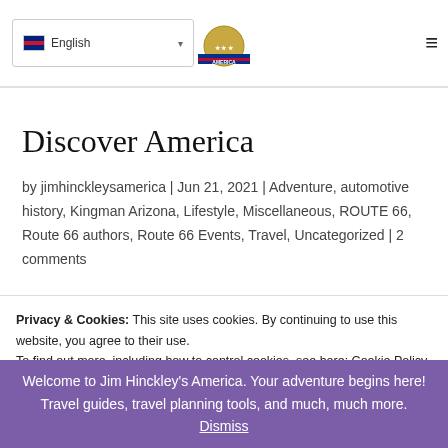English | [hamburger menu]
Discover America
by jimhinckleysamerica | Jun 21, 2021 | Adventure, automotive history, Kingman Arizona, Lifestyle, Miscellaneous, ROUTE 66, Route 66 authors, Route 66 Events, Travel, Uncategorized | 2 comments
[Figure (illustration): A Treasured Gift at Christmas Time - decorative text banner with script font for 'Gift']
Privacy & Cookies: This site uses cookies. By continuing to use this website, you agree to their use.
To find out more, including how to control cookies, see here: Cookie Policy
Welcome to Jim Hinckley's America. Your adventure begins here! Travel guides, travel planning tools, and much, much more. Dismiss